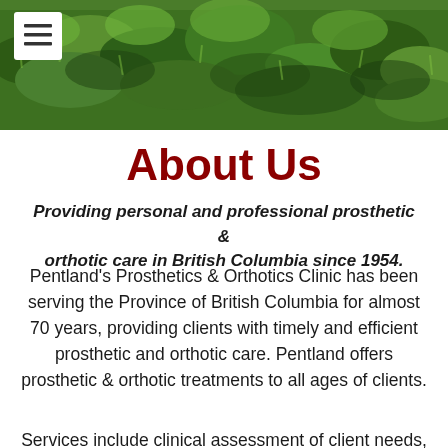[Figure (photo): Green grass field background image at the top of the page, with a white hamburger menu button in the top-left corner]
About Us
Providing personal and professional prosthetic & orthotic care in British Columbia since 1954.
Pentland's Prosthetics & Orthotics Clinic has been serving the Province of British Columbia for almost 70 years, providing clients with timely and efficient prosthetic and orthotic care. Pentland offers prosthetic & orthotic treatments to all ages of clients.
Services include clinical assessment of client needs,